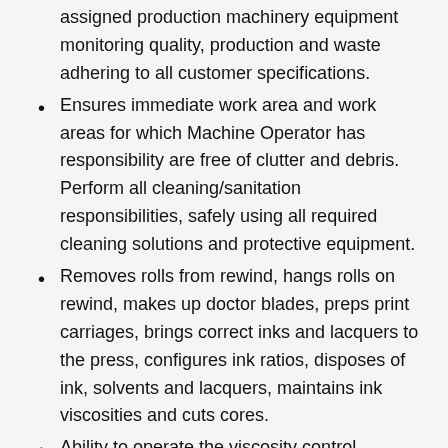assigned production machinery equipment monitoring quality, production and waste adhering to all customer specifications.
Ensures immediate work area and work areas for which Machine Operator has responsibility are free of clutter and debris. Perform all cleaning/sanitation responsibilities, safely using all required cleaning solutions and protective equipment.
Removes rolls from rewind, hangs rolls on rewind, makes up doctor blades, preps print carriages, brings correct inks and lacquers to the press, configures ink ratios, disposes of ink, solvents and lacquers, maintains ink viscosities and cuts cores.
Ability to operate the viscosity control system.
Ensures all required on-line quality data is properly documented.
Monitors all quality requirements as outlined by company procedure and specification. Completes